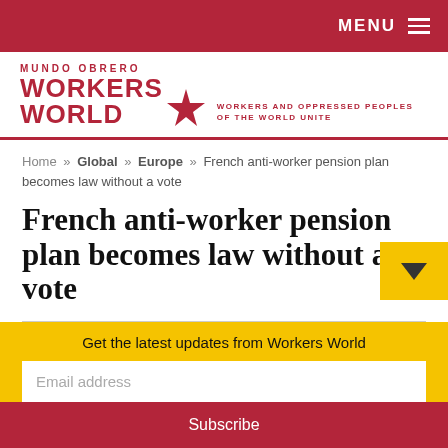MENU
[Figure (logo): Workers World / Mundo Obrero logo with red star and tagline: Workers and Oppressed Peoples of the World Unite]
Home » Global » Europe » French anti-worker pension plan becomes law without a vote
French anti-worker pension plan becomes law without a vote
By G. Dunkel posted on March 12, 2020
Get the latest updates from Workers World
Email address
Subscribe